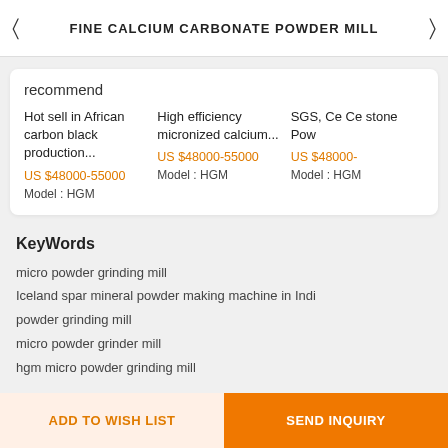FINE CALCIUM CARBONATE POWDER MILL
recommend
Hot sell in African carbon black production...
US $48000-55000
Model : HGM
High efficiency micronized calcium...
US $48000-55000
Model : HGM
SGS, Ce Ce stone Pow
US $48000-
Model : HGM
KeyWords
micro powder grinding mill
Iceland spar mineral powder making machine in Indi
powder grinding mill
micro powder grinder mill
hgm micro powder grinding mill
ADD TO WISH LIST    SEND INQUIRY